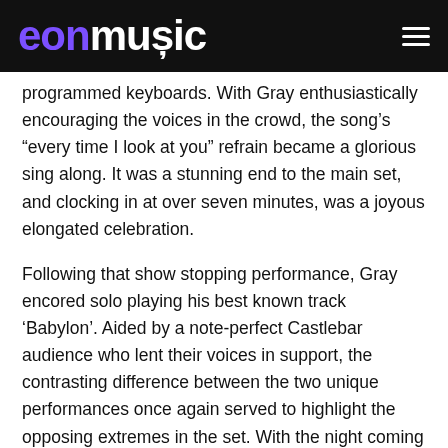eon music
programmed keyboards. With Gray enthusiastically encouraging the voices in the crowd, the song's “every time I look at you” refrain became a glorious sing along. It was a stunning end to the main set, and clocking in at over seven minutes, was a joyous elongated celebration.
Following that show stopping performance, Gray encored solo playing his best known track ‘Babylon’. Aided by a note-perfect Castlebar audience who lent their voices in support, the contrasting difference between the two unique performances once again served to highlight the opposing extremes in the set. With the night coming to an end, a victorious run through ‘Nemesis’ from 2009’s ‘Draw The Line’ album was perfectly apt, with its “it’s been a long